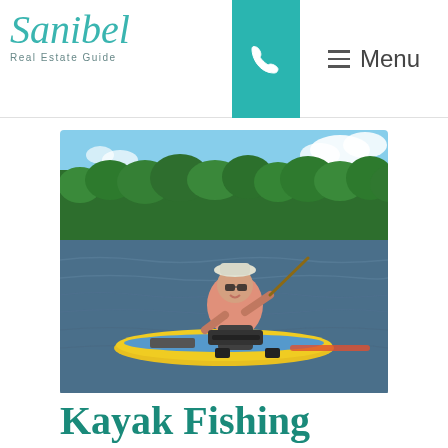Sanibel Real Estate Guide
[Figure (photo): Person sitting on a yellow and blue kayak fishing on a calm river or waterway, wearing a pink shirt, shorts, hat and sunglasses, holding a fishing rod, with lush green mangrove trees in the background and blue sky with clouds.]
Kayak Fishing on Sanibel